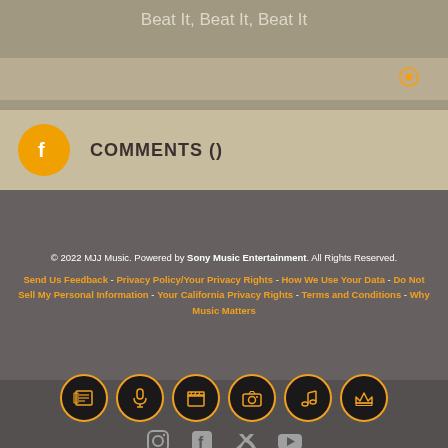Beat It, Beat It, Beat It
[Figure (screenshot): Search/input bar with chat bubble icon]
COMMENTS ()
© 2022 MJJ Music. Powered by Sony Music Entertainment. All Rights Reserved. Send Us Feedback - Privacy Policy/Your Privacy Rights - How We Use Your Data - Do Not Sell My Personal Information - Your California Privacy Rights - Terms and Conditions - Why Music Matters
[Figure (infographic): Row of six orange-outlined dark circular icons: newspaper, microphone, clapperboard, camera, music note, crown. Below: Instagram, Facebook, Twitter, YouTube social icons in gray.]